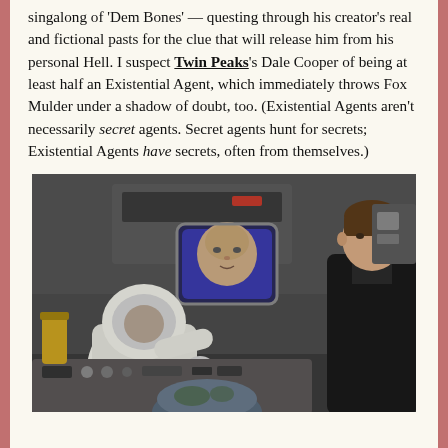singalong of 'Dem Bones' — questing through his creator's real and fictional pasts for the clue that will release him from his personal Hell. I suspect Twin Peaks's Dale Cooper of being at least half an Existential Agent, which immediately throws Fox Mulder under a shadow of doubt, too. (Existential Agents aren't necessarily secret agents. Secret agents hunt for secrets; Existential Agents have secrets, often from themselves.)
[Figure (photo): A scene showing two figures in what appears to be a sci-fi laboratory or control room setting. On the left is a figure in a white hooded suit/hazmat-style outfit, leaning over equipment. In the center background is a monitor/screen displaying a man's face. On the right stands a man in a dark jacket, looking at the hooded figure.]